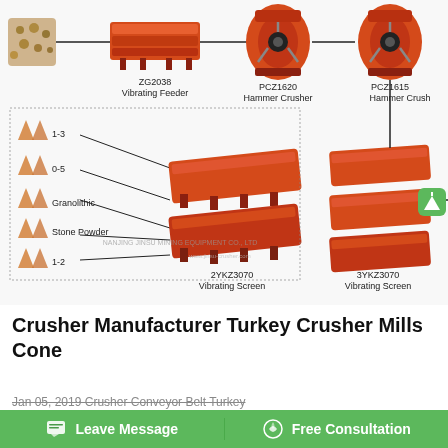[Figure (engineering-diagram): Mining equipment process flow diagram showing: raw material → ZG2038 Vibrating Feeder → PCZ1620 Hammer Crusher → PCZ1615 Hammer Crusher, with outputs labeled 1-3, 0-5, Granolithic, Stone Powder, 1-2 going through 2YKZ3070 Vibrating Screen and 3YKZ3070 Vibrating Screen. Includes watermark 'NANJING JINSU MINING EQUIPMENT CO., LTD' and website 'www.jinsu-crusher.com'. A green rounded square with upward arrow icon appears at right.]
Crusher Manufacturer Turkey Crusher Mills Cone
Jan 05, 2019 Crusher Conveyor Belt Turkey
Leave Message   Free Consultation